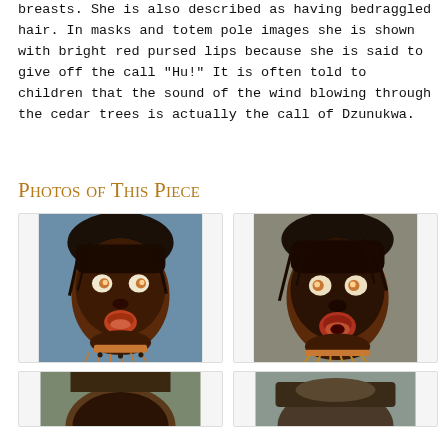breasts. She is also described as having bedraggled hair. In masks and totem pole images she is shown with bright red pursed lips because she is said to give off the call "Hu!" It is often told to children that the sound of the wind blowing through the cedar trees is actually the call of Dzunukwa.
Photos of This Piece
[Figure (photo): Photo of a Dzunukwa mask showing dark painted face with open pursed lips, dark hair, decorative elements]
[Figure (photo): Second photo of a Dzunukwa mask, similar dark face with pursed lips and hair, slightly different angle]
[Figure (photo): Third photo (partially visible) at bottom left]
[Figure (photo): Fourth photo (partially visible) at bottom right]